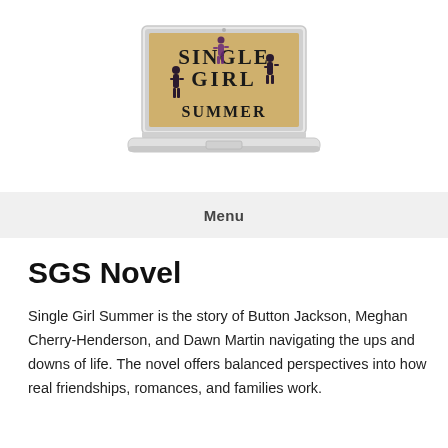[Figure (illustration): A white MacBook laptop displaying the 'Single Girl Summer' book cover logo on its screen, with silhouettes of women in various poses around large stylized text on a gold/tan background.]
Menu
SGS Novel
Single Girl Summer is the story of Button Jackson, Meghan Cherry-Henderson, and Dawn Martin navigating the ups and downs of life. The novel offers balanced perspectives into how real friendships, romances, and families work.